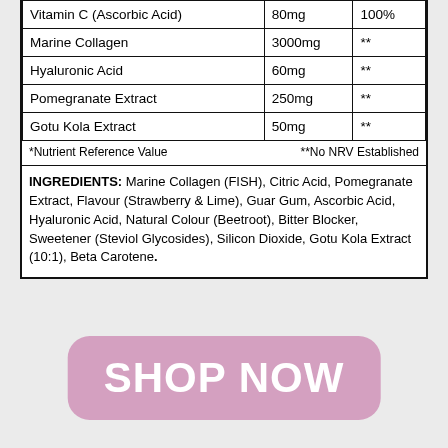|  | Amount | %NRV* |
| --- | --- | --- |
| Vitamin C (Ascorbic Acid) | 80mg | 100% |
| Marine Collagen | 3000mg | ** |
| Hyaluronic Acid | 60mg | ** |
| Pomegranate Extract | 250mg | ** |
| Gotu Kola Extract | 50mg | ** |
*Nutrient Reference Value   **No NRV Established
INGREDIENTS: Marine Collagen (FISH), Citric Acid, Pomegranate Extract, Flavour (Strawberry & Lime), Guar Gum, Ascorbic Acid, Hyaluronic Acid, Natural Colour (Beetroot), Bitter Blocker, Sweetener (Steviol Glycosides), Silicon Dioxide, Gotu Kola Extract (10:1), Beta Carotene.
[Figure (other): Pink rounded rectangle button with white bold text reading SHOP NOW]